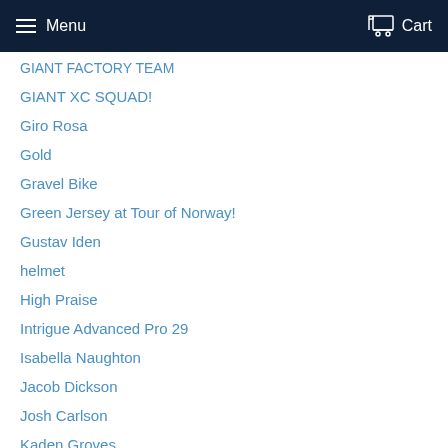Menu  Cart
GIANT FACTORY TEAM
GIANT XC SQUAD!
Giro Rosa
Gold
Gravel Bike
Green Jersey at Tour of Norway!
Gustav Iden
helmet
High Praise
Intrigue Advanced Pro 29
Isabella Naughton
Jacob Dickson
Josh Carlson
Kaden Groves
Kristen Faulkner
KRISTIAN BLUMMENFELT
Langma